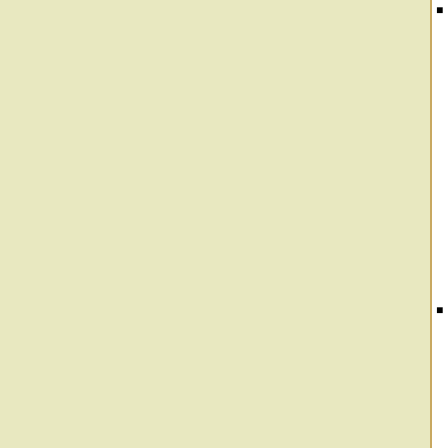Albatross (1976) [SF] also appeared as:
Translation: Die Anklage [German] (1994)
Translation: Albatros [Romanian] (1995)
How Sharper Than a Serpent's Tooth (1976) [SF] also appeared as:
Translation: Schmerzvoller denn einer Schlange Zahn